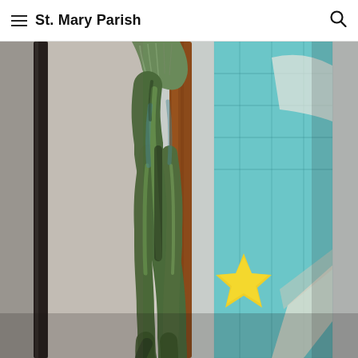St. Mary Parish
[Figure (photo): Close-up photograph of a bronze crucifix figure (lower torso and legs) mounted on a wooden cross, with a colorful mosaic tile artwork visible in the background featuring turquoise, yellow, and light blue colors.]